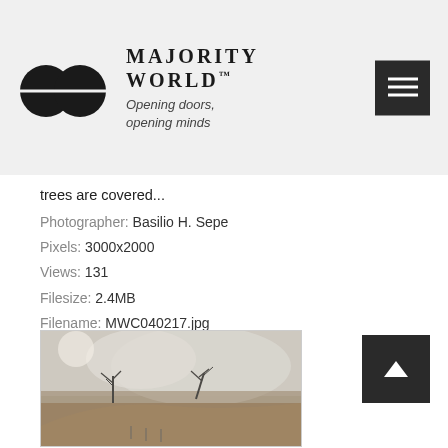MAJORITY WORLD™ — Opening doors, opening minds
trees are covered...
Photographer: Basilio H. Sepe
Pixels: 3000x2000
Views: 131
Filesize: 2.4MB
Filename: MWC040217.jpg
Owner: Basilio H. Sepe
Added: Jul 10, 2021
[Figure (photo): Desert or volcanic landscape with sparse bare trees against a cloudy/dusty sky, sandy ground in foreground, monochrome/sepia-toned photograph]